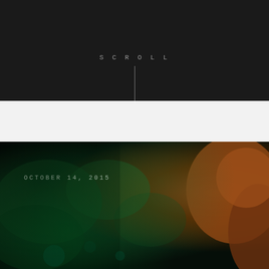SCROLL
[Figure (photo): Dark background with blurred nature/animal photo showing deep green foliage and orange-brown fur or feathers on the right side, with date overlay OCTOBER 14, 2015]
OCTOBER 14, 2015